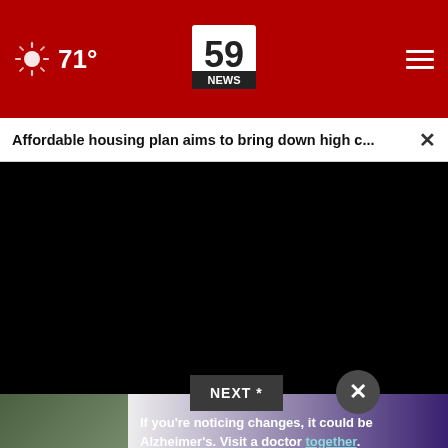71° — 59 NEWS
Affordable housing plan aims to bring down high c...
[Figure (screenshot): Black video player frame with timeline scrubber and playback controls showing 00:00]
NEXT *
[Figure (photo): Advertisement banner: two people standing together outdoors. Text: If you're noticing changes, it could be Alzheimer's. Visit a doctor together.]
* By ... you ... rea...